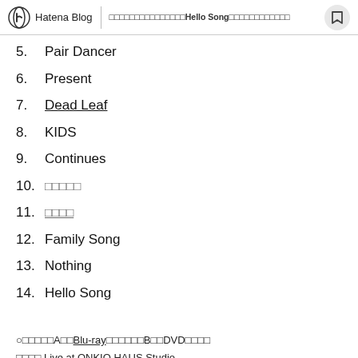Hatena Blog — □□□□□□□□□□□□□□□Hello Song□□□□□□□□□□□□
5.  Pair Dancer
6.  Present
7.  Dead Leaf
8.  KIDS
9.  Continues
10.  □□□□□
11.  □□□□
12.  Family Song
13.  Nothing
14.  Hello Song
○□□□□□A□□Blu-ray□□□□□□B□□DVD□□□□
□□□□ Live at ONKIO HAUS Studio